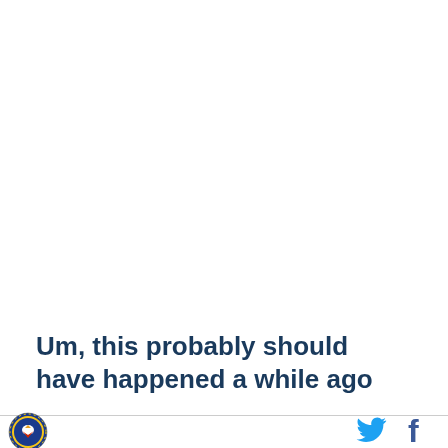Um, this probably should have happened a while ago
[Figure (logo): Round organization logo with eagle/bird emblem and text around the border]
[Figure (logo): Twitter bird icon in cyan/blue]
[Figure (logo): Facebook f icon in dark navy/blue]